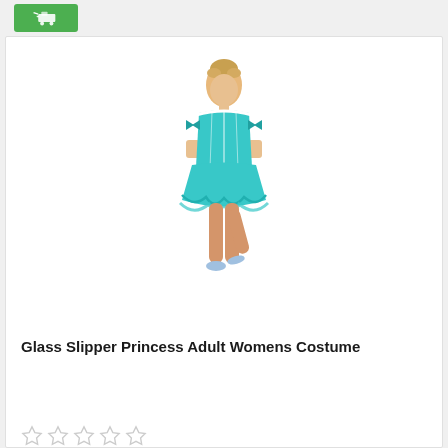[Figure (photo): Green add-to-cart button with cart icon at top of page]
[Figure (photo): Woman wearing a Cinderella-style turquoise/teal off-shoulder corset mini dress with tutu skirt and long gloves, blonde hair up, posing against white background]
Glass Slipper Princess Adult Womens Costume
[Figure (other): Five empty/unfilled star rating icons (0 out of 5 stars)]